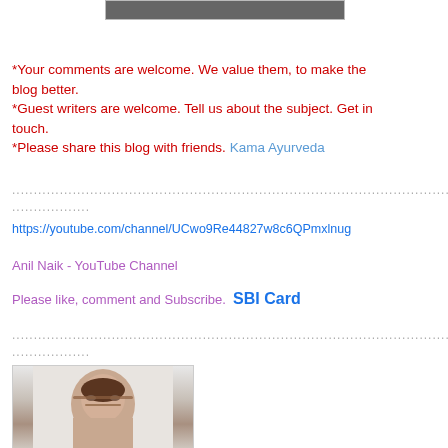[Figure (photo): Top partial image, cropped at top of page]
*Your comments are welcome. We value them, to make the blog better.
*Guest writers are welcome. Tell us about the subject. Get in touch.
*Please share this blog with friends. Kama Ayurveda
....................................................................................................................
..................
https://youtube.com/channel/UCwo9Re44827w8c6QPmxlnug
Anil Naik - YouTube Channel
Please like, comment and Subscribe.  SBI Card
....................................................................................................................
..................
[Figure (photo): Author headshot photo - middle-aged man with glasses]